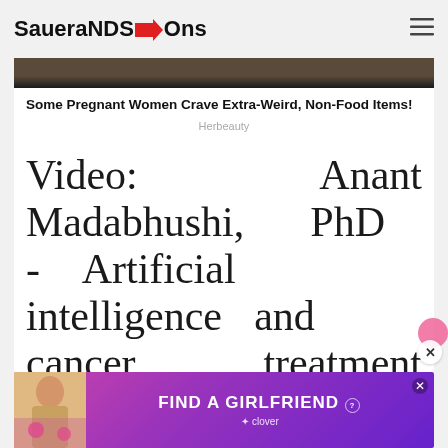SaueraNDS→Ons
[Figure (photo): Partial view of a photo at top of article card, dark toned image]
Some Pregnant Women Crave Extra-Weird, Non-Food Items!
Herbeauty
Video: Anant Madabhushi, PhD - Artificial intelligence and cancer treatment (September 2022).
[Figure (photo): Advertisement banner: FIND A GIRLFRIEND with a woman holding hearts, clover branding, purple/pink gradient background]